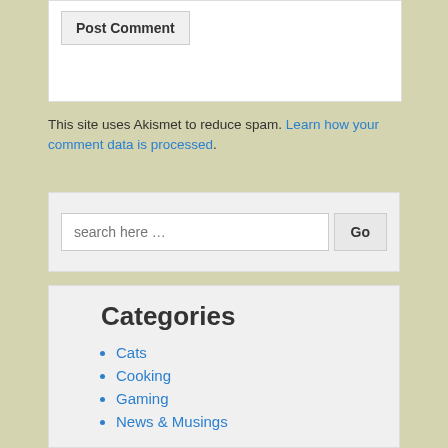Post Comment
This site uses Akismet to reduce spam. Learn how your comment data is processed.
search here …
Categories
Cats
Cooking
Gaming
News & Musings